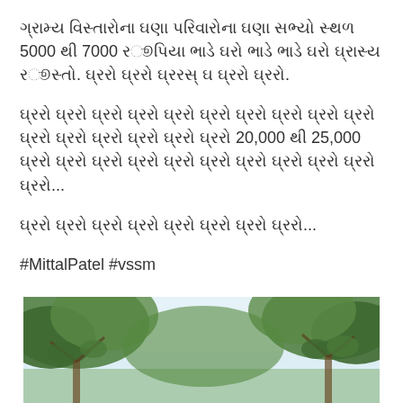ગ્રામ્ય વિસ્તારોના ઘણા પરિવારોના ઘણા સભ્યો સ્થળ 5000 થી 7000 રૂપિયા ભાડે ઘરો ભાડે ભાડે ઘરો ઘ્રાસ્ય રૂસ્તો. ઘ્રરો ઘ્રરો ઘ્રરસ્ ઘ ઘ્રરો ઘ્રરો.
ઘ્રરો ઘ્રરો ઘ્રરો ઘ્રરો ઘ્રરો ઘ્રરો ઘ્રરો ઘ્રરો ઘ્રરો ઘ્રરો ઘ્રરો ઘ્રરો ઘ્રરો ઘ્રરો ઘ્રરો ઘ્રરો 20,000 થી 25,000 ઘ્રરો ઘ્રરો ઘ્રરો ઘ્રરો ઘ્રરો ઘ્રરો ઘ્રરો ઘ્રરો ઘ્રરો ઘ્રરો ઘ્રરો...
ઘ્રરો ઘ્રરો ઘ્રરો ઘ્રરો ઘ્રરો ઘ્રરો ઘ્રરો ઘ્રરો...
#MittalPatel #vssm
[Figure (photo): Outdoor photo showing trees with leafy branches against a light sky]